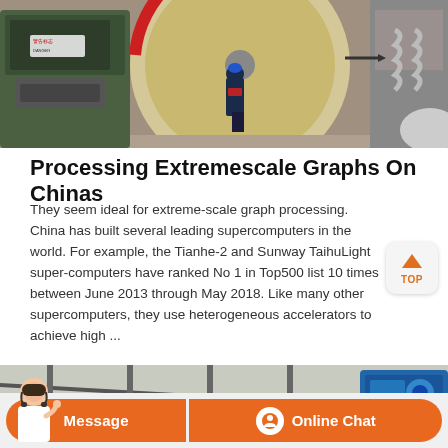[Figure (photo): Industrial machinery photo showing a large piece of mining or crushing equipment with a worker standing in front, wearing a blue helmet and dark uniform. Metal machinery components visible.]
Processing Extremescale Graphs On Chinas
They seem ideal for extreme-scale graph processing. China has built several leading supercomputers in the world. For example, the Tianhe-2 and Sunway TaihuLight super-computers have ranked No 1 in Top500 list 10 times between June 2013 through May 2018. Like many other supercomputers, they use heterogeneous accelerators to achieve high ...
[Figure (photo): Outdoor industrial scene showing metal railing/scaffolding structure with blue machinery or equipment visible in the background.]